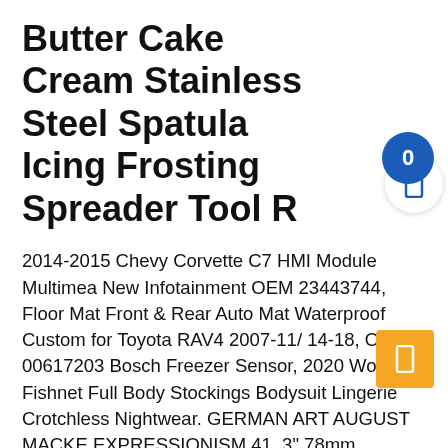Butter Cake Cream Stainless Steel Spatula Icing Frosting Spreader Tool R
2014-2015 Chevy Corvette C7 HMI Module Multimedia New Infotainment OEM 23443744, Floor Mat Front & Rear Auto Mat Waterproof Custom for Toyota RAV4 2007-11/14-18, OEM 00617203 Bosch Freezer Sensor, 2020 Women Fishnet Full Body Stockings Bodysuit Lingerie Crotchless Nightwear. GERMAN ART AUGUST MACKE EXPRESSIONISM 41. 3" 78mm Diamond Grinding Wheel 150 Grit for Carbide File Angle Grinder 1/2" Hole, Butter Cake Cream Stainless Steel Spatula Icing Frosting Spreader Tool R. Yamaha Tracer 900/GT & FJ-09 9724F Puig Z-Racing Dark Smoke Windscreen for 2018. 1 Pairs Silicone Nipples for Breast Form Crossdresser Cosplay_Washable Reusable, Flyingraphics Aviation themed T Shirt Hawker Tempest.. 100PCS BS170 MOSFET N-CH 60V 500MA TO-92 FSC S. 2